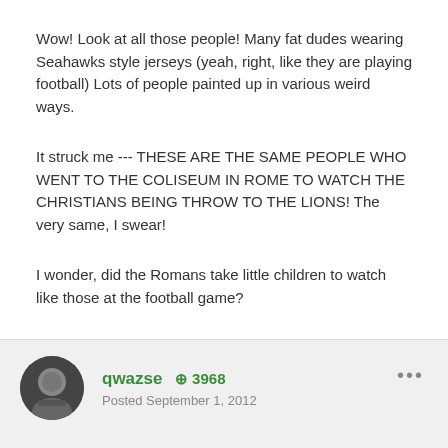Wow! Look at all those people! Many fat dudes wearing Seahawks style jerseys (yeah, right, like they are playing football) Lots of people painted up in various weird ways.
It struck me --- THESE ARE THE SAME PEOPLE WHO WENT TO THE COLISEUM IN ROME TO WATCH THE CHRISTIANS BEING THROW TO THE LIONS! The very same, I swear!
I wonder, did the Romans take little children to watch like those at the football game?
qwazse +3968 Posted September 1, 2012